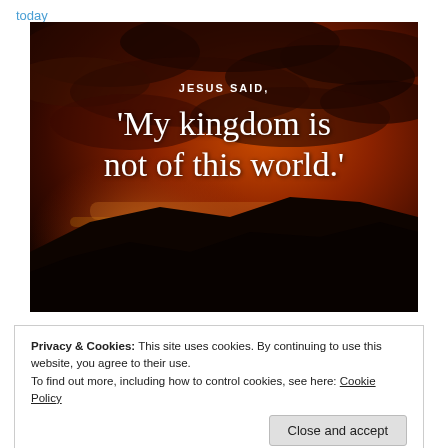today
[Figure (photo): A dramatic sunset sky with dark clouds in shades of deep orange, red, and brown, with a dark mountain silhouette at the bottom. Overlaid text reads: 'JESUS SAID,' in small bold capitals and below it in large serif font: '‘My kingdom is not of this world.’']
Privacy & Cookies: This site uses cookies. By continuing to use this website, you agree to their use.
To find out more, including how to control cookies, see here: Cookie Policy
Close and accept